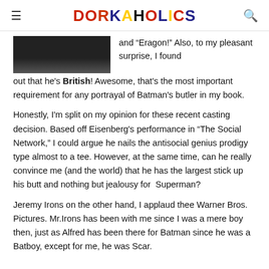DORKAHOLICS
[Figure (photo): Dark partially visible image at top left, appears to be a screenshot or photo with dark tones]
and "Eragon!" Also, to my pleasant surprise, I found out that he's British! Awesome, that's the most important requirement for any portrayal of Batman's butler in my book.
Honestly, I'm split on my opinion for these recent casting decision. Based off Eisenberg's performance in "The Social Network," I could argue he nails the antisocial genius prodigy type almost to a tee. However, at the same time, can he really convince me (and the world) that he has the largest stick up his butt and nothing but jealousy for  Superman?
Jeremy Irons on the other hand, I applaud thee Warner Bros. Pictures. Mr.Irons has been with me since I was a mere boy then, just as Alfred has been there for Batman since he was a Batboy, except for me, he was Scar.